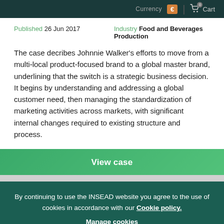Currency € | 0 Cart
Published 26 Jun 2017
Industry Food and Beverages Production
The case decribes Johnnie Walker's efforts to move from a multi-local product-focused brand to a global master brand, underlining that the switch is a strategic business decision. It begins by understanding and addressing a global customer need, then managing the standardization of marketing activities across markets, with significant internal changes required to existing structure and process.
View case
By continuing to use the INSEAD website you agree to the use of cookies in accordance with our Cookie policy.
Manage cookies
OK